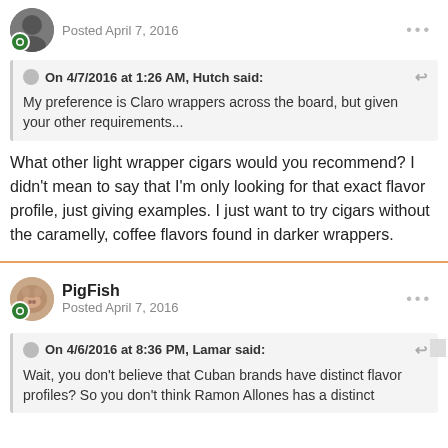Posted April 7, 2016
On 4/7/2016 at 1:26 AM, Hutch said:
My preference is Claro wrappers across the board, but given your other requirements...
What other light wrapper cigars would you recommend? I didn't mean to say that I'm only looking for that exact flavor profile, just giving examples. I just want to try cigars without the caramelly, coffee flavors found in darker wrappers.
PigFish
Posted April 7, 2016
On 4/6/2016 at 8:36 PM, Lamar said:
Wait, you don't believe that Cuban brands have distinct flavor profiles? So you don't think Ramon Allones has a distinct